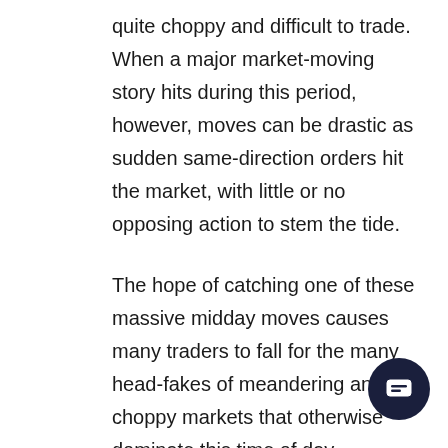quite choppy and difficult to trade. When a major market-moving story hits during this period, however, moves can be drastic as sudden same-direction orders hit the market, with little or no opposing action to stem the tide.
The hope of catching one of these massive midday moves causes many traders to fall for the many head-fakes of meandering and choppy markets that otherwise dominate this time of day.